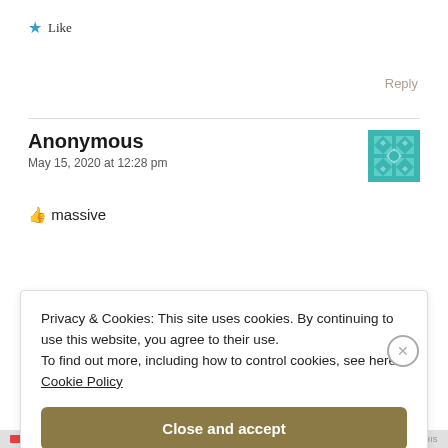★ Like
Reply
Anonymous
May 15, 2020 at 12:28 pm
[Figure (illustration): Teal/green decorative avatar icon with geometric quilt-like pattern]
👍 massive
Privacy & Cookies: This site uses cookies. By continuing to use this website, you agree to their use.
To find out more, including how to control cookies, see here: Cookie Policy
Close and accept